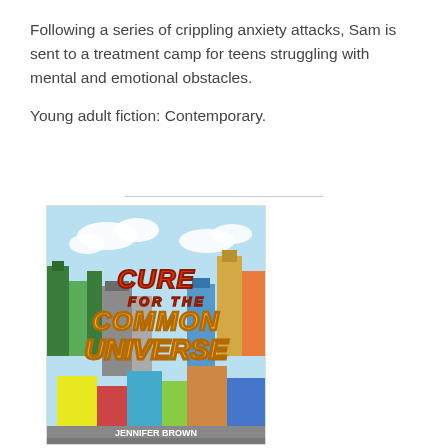Following a series of crippling anxiety attacks, Sam is sent to a treatment camp for teens struggling with mental and emotional obstacles.
Young adult fiction: Contemporary.
[Figure (illustration): Book cover for 'Cure for the Common Universe' showing a colorful pixel-art style city scene with bold 3D lettering. The title text 'CURE FOR THE COMMON UNIVERSE' is displayed in large red and orange 3D block letters over a vibrant illustrated cityscape background.]